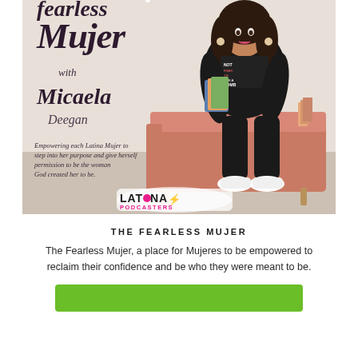[Figure (photo): Podcast cover art for 'The Fearless Mujer with Micaela Deegan'. Features a Latina woman in a black outfit sitting on a pink/salmon couch holding books, with cursive script text reading 'Mujer with Micaela Deegan'. Tagline reads 'Empowering each Latina Mujer to step into her purpose and give herself permission to be the woman God created her to be.' Latina Podcasters logo in bottom left.]
THE FEARLESS MUJER
The Fearless Mujer, a place for Mujeres to be empowered to reclaim their confidence and be who they were meant to be.
[Figure (other): Green button/banner at the bottom of the page]